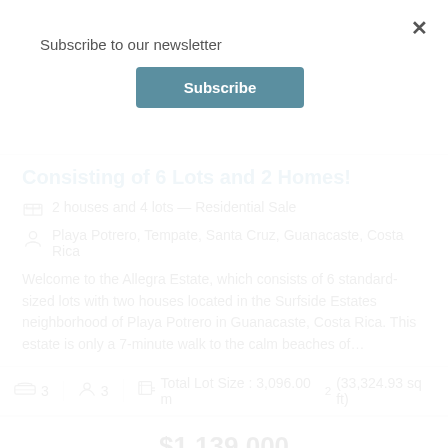Subscribe to our newsletter
Subscribe
Consisting of 6 Lots and 2 Homes!
2 houses and 4 lots — Residential Sale
Playa Potrero, Tempate, Santa Cruz, Guanacaste, Costa Rica
Welcome to the Allegra Estate, which consists of 6 standard-sized lots with two houses located in the Surfside Estates neighborhood of Playa Potrero in Guanacaste, Costa Rica. This estate is only a 7-minute walk to the calm beaches of…
3  3  Total Lot Size : 3,096.00 m² (33,324.93 sq ft)
$1,139,000